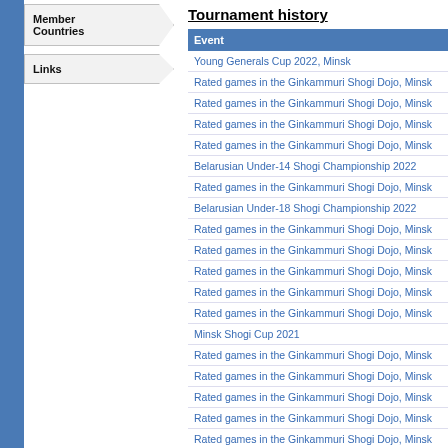Member Countries
Links
Tournament history
| Event |
| --- |
| Young Generals Cup 2022, Minsk |
| Rated games in the Ginkammuri Shogi Dojo, Minsk |
| Rated games in the Ginkammuri Shogi Dojo, Minsk |
| Rated games in the Ginkammuri Shogi Dojo, Minsk |
| Rated games in the Ginkammuri Shogi Dojo, Minsk |
| Belarusian Under-14 Shogi Championship 2022 |
| Rated games in the Ginkammuri Shogi Dojo, Minsk |
| Belarusian Under-18 Shogi Championship 2022 |
| Rated games in the Ginkammuri Shogi Dojo, Minsk |
| Rated games in the Ginkammuri Shogi Dojo, Minsk |
| Rated games in the Ginkammuri Shogi Dojo, Minsk |
| Rated games in the Ginkammuri Shogi Dojo, Minsk |
| Rated games in the Ginkammuri Shogi Dojo, Minsk |
| Minsk Shogi Cup 2021 |
| Rated games in the Ginkammuri Shogi Dojo, Minsk |
| Rated games in the Ginkammuri Shogi Dojo, Minsk |
| Rated games in the Ginkammuri Shogi Dojo, Minsk |
| Rated games in the Ginkammuri Shogi Dojo, Minsk |
| Rated games in the Ginkammuri Shogi Dojo, Minsk |
| Rated games in the Ginkammuri Shogi Dojo, Minsk |
| Rated games in the Ginkammuri Shogi Dojo, Minsk |